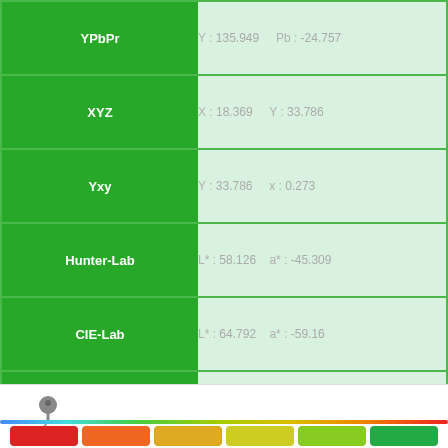| Color Space | Values |
| --- | --- |
| YPbPr | Y: 135.949  Pb: -24.757 |
| XYZ | X: 18.369  Y: 33.786 |
| Yxy | Y: 33.786  x: 0.273 |
| Hunter-Lab | L*: 58.126  a*: -45.309 |
| CIE-Lab | L*: 64.792  a*: -59.16 |
| CIE-Luv | L*: 64.792  u*: -58.221 |
| CIE-Lch | L*: 64.792  c*: 68.987 |
| Munsell (JIS Approximate) | 2.5G 6/12 , 10GY 6/10 , 2.5G 6/... |
| Tone | Vivid , Deep |
[Figure (illustration): Pin/thumbtack icon]
[Figure (illustration): Color spectrum bar from blue to red]
[Figure (illustration): Row of color swatches in various hues]